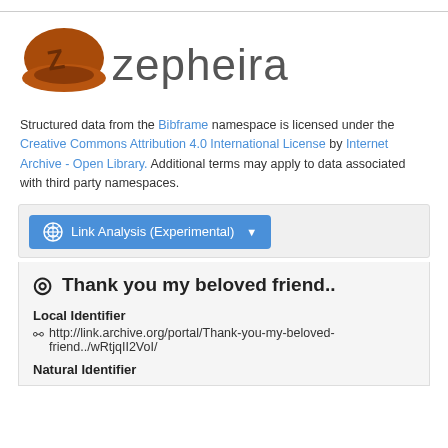[Figure (logo): Zepheira logo: brown/orange hat-like icon with the letter Z, followed by the word 'zepheira' in gray sans-serif text]
Structured data from the Bibframe namespace is licensed under the Creative Commons Attribution 4.0 International License by Internet Archive - Open Library. Additional terms may apply to data associated with third party namespaces.
Link Analysis (Experimental)
Thank you my beloved friend..
Local Identifier
http://link.archive.org/portal/Thank-you-my-beloved-friend../wRtjqII2VoI/
Natural Identifier